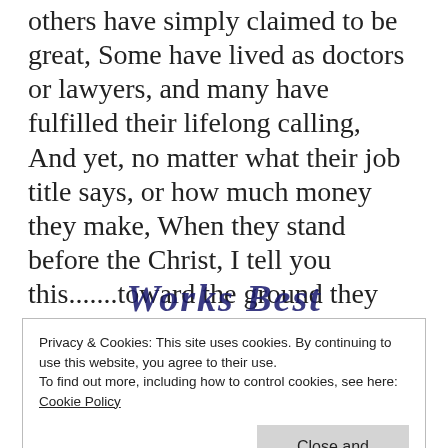others have simply claimed to be great, Some have lived as doctors or lawyers, and many have fulfilled their lifelong calling, And yet, no matter what their job title says, or how much money they make, When they stand before the Christ, I tell you this.......toward the ground they will be falling.
Works Best
Privacy & Cookies: This site uses cookies. By continuing to use this website, you agree to their use.
To find out more, including how to control cookies, see here:
Cookie Policy
Close and accept